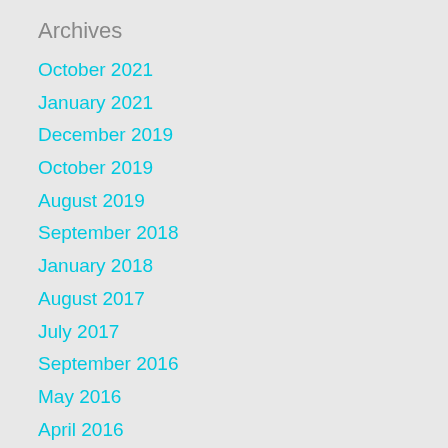Archives
October 2021
January 2021
December 2019
October 2019
August 2019
September 2018
January 2018
August 2017
July 2017
September 2016
May 2016
April 2016
March 2016
January 2015
October 2014
September 2014
Categories